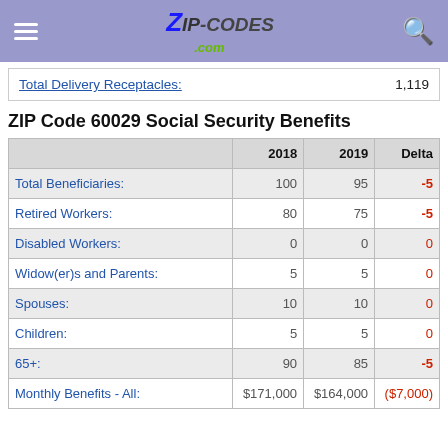Zip-Codes.com
|  | 2018 | 2019 | Delta |
| --- | --- | --- | --- |
| Total Delivery Receptacles: |  |  | 1,119 |
ZIP Code 60029 Social Security Benefits
|  | 2018 | 2019 | Delta |
| --- | --- | --- | --- |
| Total Beneficiaries: | 100 | 95 | -5 |
| Retired Workers: | 80 | 75 | -5 |
| Disabled Workers: | 0 | 0 | 0 |
| Widow(er)s and Parents: | 5 | 5 | 0 |
| Spouses: | 10 | 10 | 0 |
| Children: | 5 | 5 | 0 |
| 65+: | 90 | 85 | -5 |
| Monthly Benefits - All: | $171,000 | $164,000 | ($7,000) |